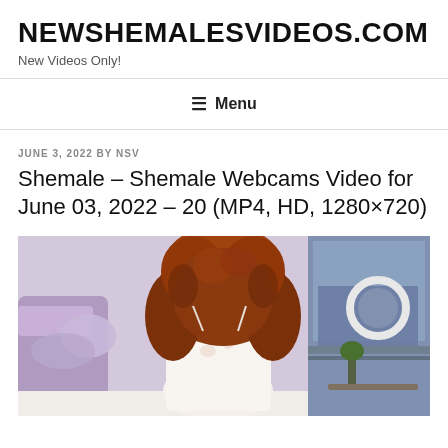NEWSHEMALESVIDEOS.COM
New Videos Only!
≡ Menu
JUNE 3, 2022 BY NSV
Shemale – Shemale Webcams Video for June 03, 2022 – 20 (MP4, HD, 1280×720)
[Figure (photo): Thumbnail image of a person with curly red/auburn hair seen from behind, wearing a white floral top, sitting on a bed with purple pillows. A ring light is visible on the right side of the image.]